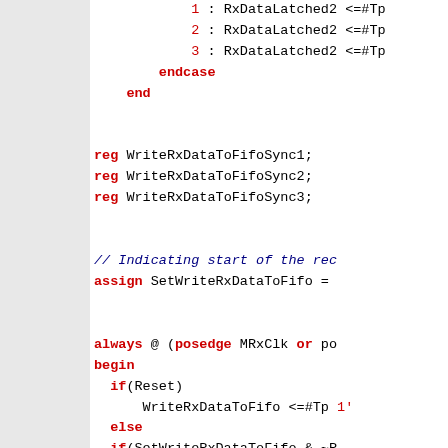Verilog/SystemVerilog source code snippet showing case statement entries, reg declarations, assign statement, and always block with if/else logic for WriteRxDataToFifo and related synchronization registers.